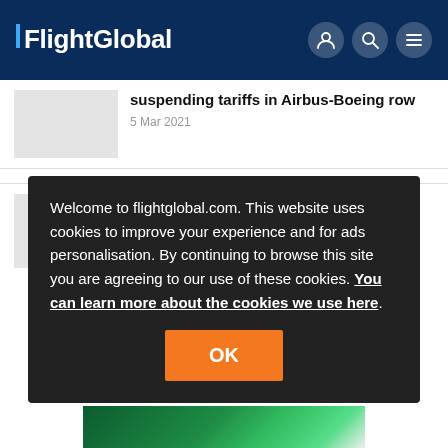FlightGlobal
suspending tariffs in Airbus-Boeing row
5 Mar 2021
News
Welcome to flightglobal.com. This website uses cookies to improve your experience and for ads personalisation. By continuing to browse this site you are agreeing to our use of these cookies. You can learn more about the cookies we use here.
OK